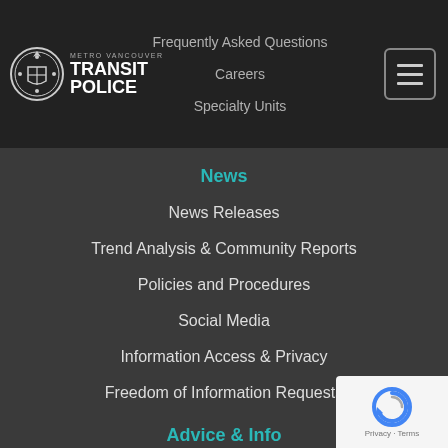[Figure (screenshot): Metro Vancouver Transit Police website navigation menu screenshot showing header with logo, navigation links, and expanded menu items]
Frequently Asked Questions
Careers
Specialty Units
News
News Releases
Trend Analysis & Community Reports
Policies and Procedures
Social Media
Information Access & Privacy
Freedom of Information Requests
Advice & Info
Neighbourhood Police Officers
See Something, Say Something